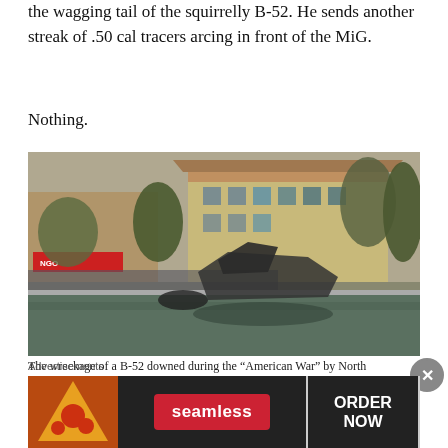the wagging tail of the squirrelly B-52. He sends another streak of .50 cal tracers arcing in front of the MiG.
Nothing.
[Figure (photo): The wreckage of a B-52 downed during the 'American War' by North Vietnamese, remains in a lake in the center of Hanoi. People and buildings visible in background.]
The wreckage of a B-52 downed during the “American War” by North Vietnamese remains in a lake in the center of Hanoi
Advertisements
[Figure (infographic): Seamless food delivery advertisement banner with pizza image on left, Seamless logo in center, and ORDER NOW button on right.]